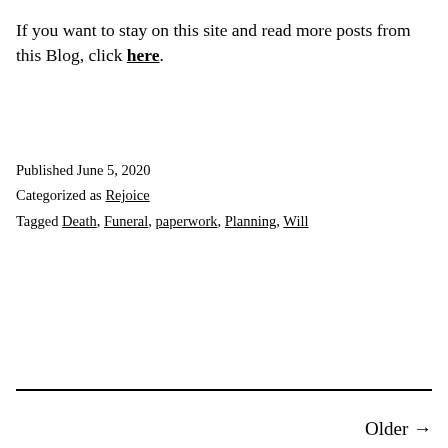If you want to stay on this site and read more posts from this Blog, click here.
Published June 5, 2020
Categorized as Rejoice
Tagged Death, Funeral, paperwork, Planning, Will
Older →